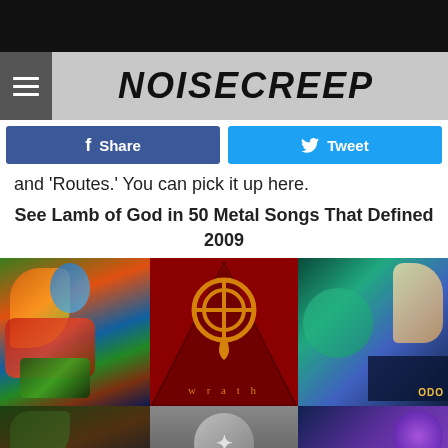[Figure (screenshot): Black top bar]
NOISECREEP
and 'Routes.' You can pick it up here.
See Lamb of God in 50 Metal Songs That Defined 2009
[Figure (photo): Collage of metal album covers including Lamb of God 'Wrath' in the center]